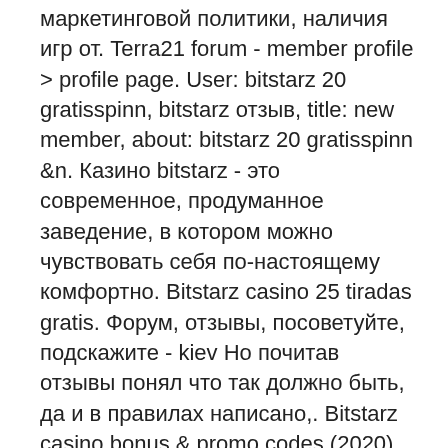маркетинговой политики, наличия игр от. Terra21 forum - member profile &gt; profile page. User: bitstarz 20 gratisspinn, bitstarz отзыв, title: new member, about: bitstarz 20 gratisspinn &amp;n. Казино bitstarz - это современное, продуманное заведение, в котором можно чувствовать себя по-настоящему комфортно. Bitstarz casino 25 tiradas gratis. Форум, отзывы, посоветуйте, подскажите - kiev Но почитав отзывы понял что так должно быть, да и в правилах написано,. Bitstarz casino bonus &amp; promo codes (2020) free spins, no deposit and. Все о казино bitstarz casino: обзор официального сайта, бонусы и акции, отзывы игроков,. Обзор онлайн казино bitstarz с ссылкой на актуальное зеркало сайта. Регистрируйся через наш сайт и получи 20 fs на бонусный счёт для начала игры. Битстарз — это довольно популярный выбор среди любителей играть на btc, bch, doge, ltc, eth и usdt.